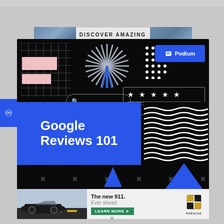DISCOVER AMAZING
[Figure (infographic): Podium Google Reviews 101 promotional banner on black background with grid pattern, starburst, dot grid, Podium logo badge, stars review box, search bar, blue section with Google Reviews 101 title, wavy lines, and X marks]
[Figure (photo): Porsche 911 advertisement banner: car driving on road with text 'The new 911. Ever ahead.' and LEARN MORE button, Porsche logo on right]
The new 911.
Ever ahead.
LEARN MORE